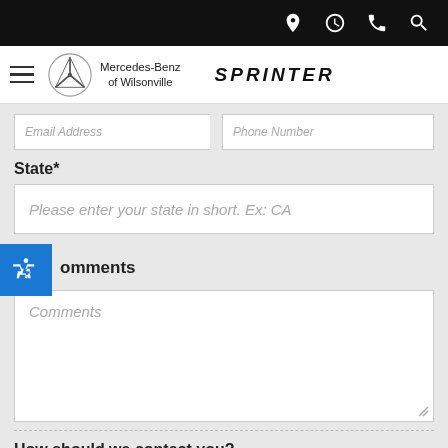Mercedes-Benz of Wilsonville — SPRINTER
Email Address | Phone Number
State*
Please enter your state in short. Ex: CA
Comments
Comments
How should we contact you?
Call